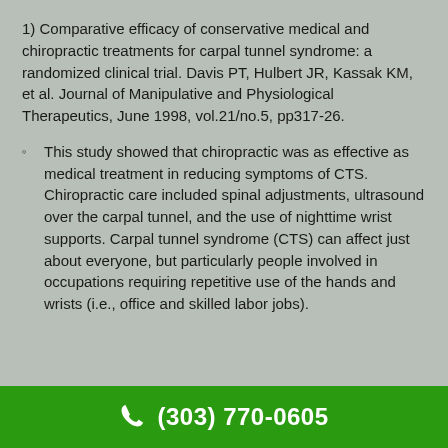1) Comparative efficacy of conservative medical and chiropractic treatments for carpal tunnel syndrome: a randomized clinical trial. Davis PT, Hulbert JR, Kassak KM, et al. Journal of Manipulative and Physiological Therapeutics, June 1998, vol.21/no.5, pp317-26.
This study showed that chiropractic was as effective as medical treatment in reducing symptoms of CTS. Chiropractic care included spinal adjustments, ultrasound over the carpal tunnel, and the use of nighttime wrist supports. Carpal tunnel syndrome (CTS) can affect just about everyone, but particularly people involved in occupations requiring repetitive use of the hands and wrists (i.e., office and skilled labor jobs).
(303) 770-0605